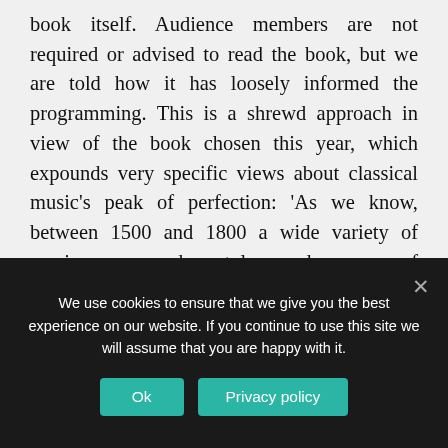book itself. Audience members are not required or advised to read the book, but we are told how it has loosely informed the programming. This is a shrewd approach in view of the book chosen this year, which expounds very specific views about classical music's peak of perfection: 'As we know, between 1500 and 1800 a wide variety of music was made; styles and means of expression were extremely variegated; but the spirit, or rather the morality, was everywhere the same.' With the idea that high culture holds not only aesthetic but also ethical value, that it directs us how to be, we are dealing, perhaps unsurprisingly, with a
We use cookies to ensure that we give you the best experience on our website. If you continue to use this site we will assume that you are happy with it.
Ok | Privacy policy